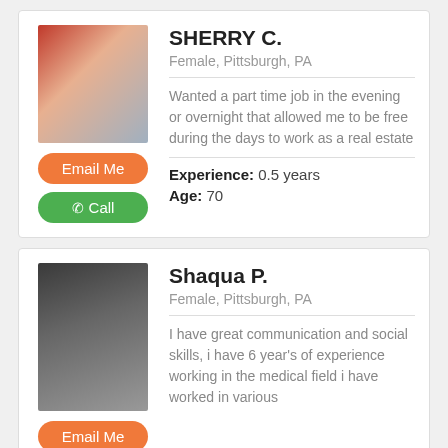SHERRY C.
Female, Pittsburgh, PA
Wanted a part time job in the evening or overnight that allowed me to be free during the days to work as a real estate
Experience: 0.5 years
Age: 70
Shaqua P.
Female, Pittsburgh, PA
I have great communication and social skills, i have 6 year's of experience working in the medical field i have worked in various